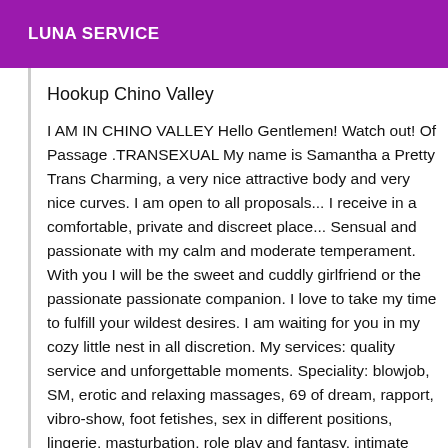LUNA SERVICE
Hookup Chino Valley
I AM IN CHINO VALLEY Hello Gentlemen! Watch out! Of Passage .TRANSEXUAL My name is Samantha a Pretty Trans Charming, a very nice attractive body and very nice curves. I am open to all proposals... I receive in a comfortable, private and discreet place... Sensual and passionate with my calm and moderate temperament. With you I will be the sweet and cuddly girlfriend or the passionate passionate companion. I love to take my time to fulfill your wildest desires. I am waiting for you in my cozy little nest in all discretion. My services: quality service and unforgettable moments. Speciality: blowjob, SM, erotic and relaxing massages, 69 of dream, rapport, vibro-show, foot fetishes, sex in different positions, lingerie, masturbation, role play and fantasy, intimate massage, (giving), wet games and many other specialties that I invite you to discover by calling me! I